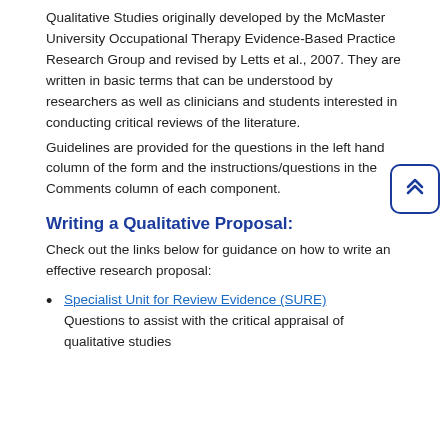Qualitative Studies originally developed by the McMaster University Occupational Therapy Evidence-Based Practice Research Group and revised by Letts et al., 2007. They are written in basic terms that can be understood by researchers as well as clinicians and students interested in conducting critical reviews of the literature.
Guidelines are provided for the questions in the left hand column of the form and the instructions/questions in the Comments column of each component.
Writing a Qualitative Proposal:
Check out the links below for guidance on how to write an effective research proposal:
Specialist Unit for Review Evidence (SURE)
Questions to assist with the critical appraisal of qualitative studies